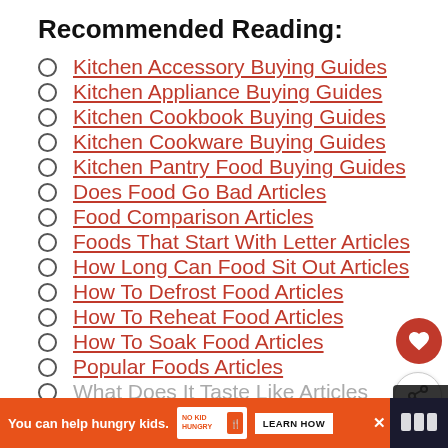Recommended Reading:
Kitchen Accessory Buying Guides
Kitchen Appliance Buying Guides
Kitchen Cookbook Buying Guides
Kitchen Cookware Buying Guides
Kitchen Pantry Food Buying Guides
Does Food Go Bad Articles
Food Comparison Articles
Foods That Start With Letter Articles
How Long Can Food Sit Out Articles
How To Defrost Food Articles
How To Reheat Food Articles
How To Soak Food Articles
Popular Foods Articles
What Does It Taste Like Articles
WHAT'S NEXT → Capellini vs. Spaghetti:...
You can help hungry kids. NO KID HUNGRY LEARN HOW